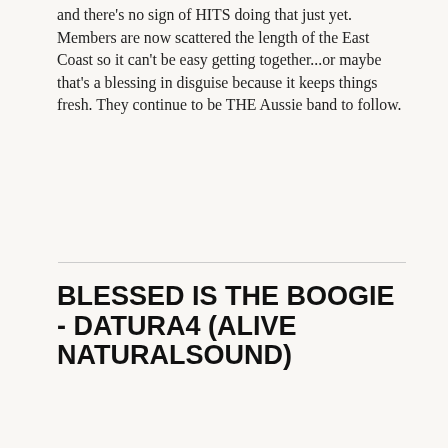and there's no sign of HITS doing that just yet. Members are now scattered the length of the East Coast so it can't be easy getting together...or maybe that's a blessing in disguise because it keeps things fresh. They continue to be THE Aussie band to follow.
BLESSED IS THE BOOGIE - DATURA4 (ALIVE NATURALSOUND)
Written by The Barman on 21 March 2019.
It's Album Number Three for the blues-psych-boogie West Australian combo built by Dom Mariani (The Stems, DM3) and mates and it's like the members sat in a studio and conspired to make everything heavier than what
[Figure (illustration): Album cover art for 'Blessed Is The Boogie' by Datura4 on Alive NaturalSound. Features stylized text 'DATURA4 BLESSED IS THE BOOGIE' over a pinkish-red circular background with illustrated figures and speakers.]